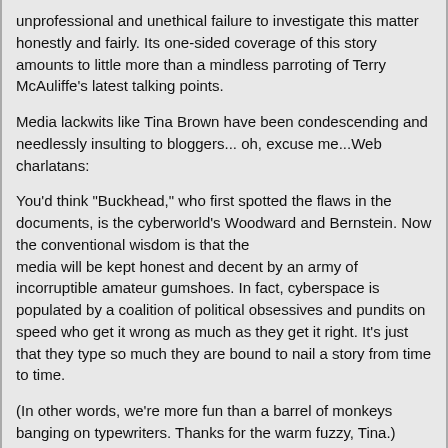unprofessional and unethical failure to investigate this matter honestly and fairly. Its one-sided coverage of this story amounts to little more than a mindless parroting of Terry McAuliffe's latest talking points.
Media lackwits like Tina Brown have been condescending and needlessly insulting to bloggers... oh, excuse me...Web charlatans:
You'd think "Buckhead," who first spotted the flaws in the documents, is the cyberworld's Woodward and Bernstein. Now the conventional wisdom is that the
media will be kept honest and decent by an army of incorruptible amateur gumshoes. In fact, cyberspace is populated by a coalition of political obsessives and pundits on speed who get it wrong as much as they get it right. It's just that they type so much they are bound to nail a story from time to time.
(In other words, we're more fun than a barrel of monkeys banging on typewriters. Thanks for the warm fuzzy, Tina.)
Seems to this web charletan that if a ragtag group of amateurs armed with modems and laptops can find the news in smalltown newspapers and radio